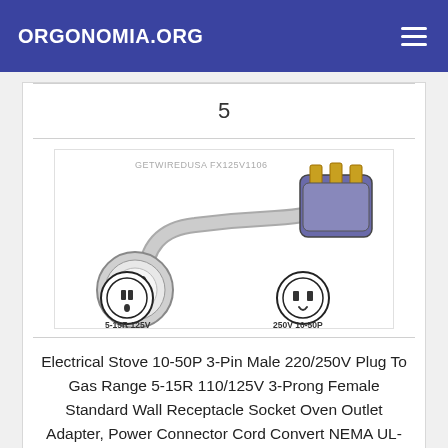ORGONOMIA.ORG
5
[Figure (photo): Product photo of an electrical adapter cord: GETWIREDUSA FX125V1106. Shows a short adapter cable with a round female connector (5-15R 125V) on one end and a flat 3-pin male plug (250V 10-50P) on the other. Diagrams of both connector types shown below with labels '5-15R 125V' and '250V 10-50P'.]
Electrical Stove 10-50P 3-Pin Male 220/250V Plug To Gas Range 5-15R 110/125V 3-Prong Female Standard Wall Receptacle Socket Oven Outlet Adapter, Power Connector Cord Convert NEMA UL-FX125V1106-R